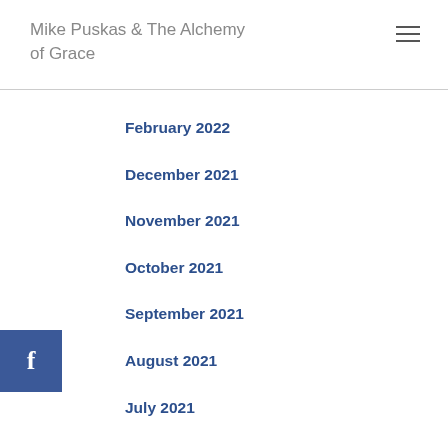Mike Puskas & The Alchemy of Grace
February 2022
December 2021
November 2021
October 2021
September 2021
August 2021
July 2021
June 2021
May 2021